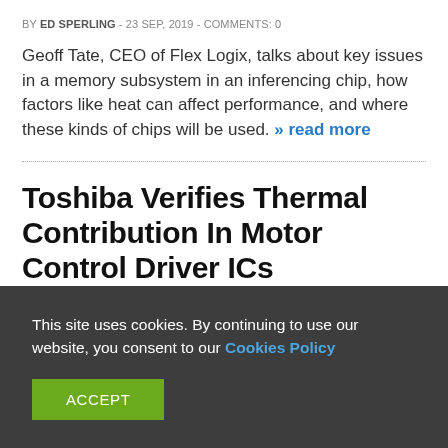BY ED SPERLING - 23 SEP, 2019 - COMMENTS: 0
Geoff Tate, CEO of Flex Logix, talks about key issues in a memory subsystem in an inferencing chip, how factors like heat can affect performance, and where these kinds of chips will be used. » read more
Toshiba Verifies Thermal Contribution In Motor Control Driver ICs
This site uses cookies. By continuing to use our website, you consent to our Cookies Policy
ACCEPT